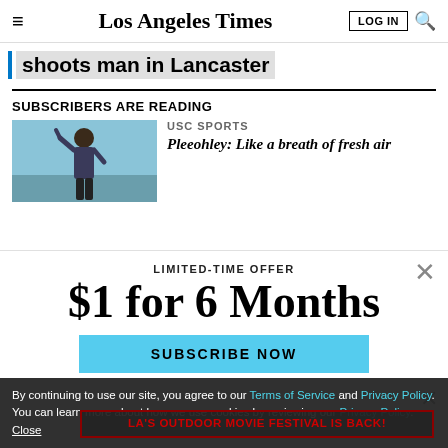Los Angeles Times | LOG IN | Search
shoots man in Lancaster
SUBSCRIBERS ARE READING
[Figure (photo): Man raising hand outdoors against blue sky background]
USC SPORTS
Pleeeohley: Like a breath of fresh air
LIMITED-TIME OFFER
$1 for 6 Months
SUBSCRIBE NOW
By continuing to use our site, you agree to our Terms of Service and Privacy Policy. You can learn more about how we use cookies by reviewing our Privacy Policy. Close
LA'S OUTDOOR MOVIE FESTIVAL IS BACK!